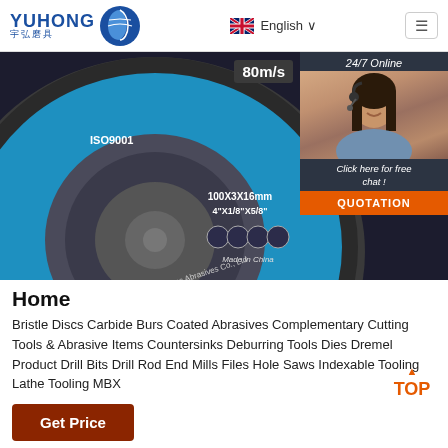[Figure (logo): YUHONG 宇弘磨具 logo with blue wave/globe icon]
[Figure (screenshot): Navigation bar with UK flag English language selector and hamburger menu button]
[Figure (photo): Blue grinding disc labeled ISO9001 and Powertec Abrasives Co. Ltd, 100X3X16mm 4"X1/8"X5/8", speed 80m/s, with 24/7 online chat panel showing woman with headset, Click here for free chat!, and QUOTATION button]
Home
Bristle Discs Carbide Burs Coated Abrasives Complementary Cutting Tools & Abrasive Items Countersinks Deburring Tools Dies Dremel Product Drill Bits Drill Rod End Mills Files Hole Saws Indexable Tooling Lathe Tooling MBX
[Figure (logo): TOP upward arrow badge in orange]
Get Price